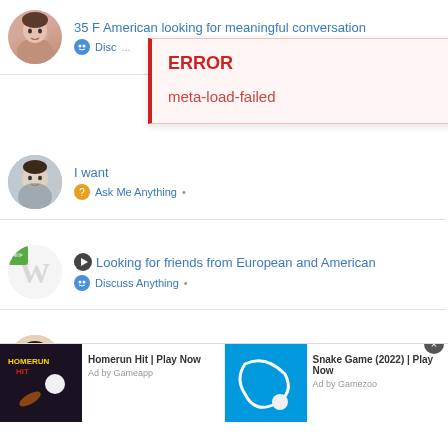35 F American looking for meaningful conversation — Discuss Anything •
[Figure (screenshot): Error overlay dialog with red left border showing ERROR title and meta-load-failed message with a close X button]
I want... — Ask Me Anything •
Looking for friends from European and American — Discuss Anything •
Guys I need ur help — Countries •
[Figure (screenshot): Ad banner with two game ads: Homerun Hit | Play Now (Ad by Gameapp) and Snake Game (2022) | Play Now (Ad by Gamezoo), with a close button]